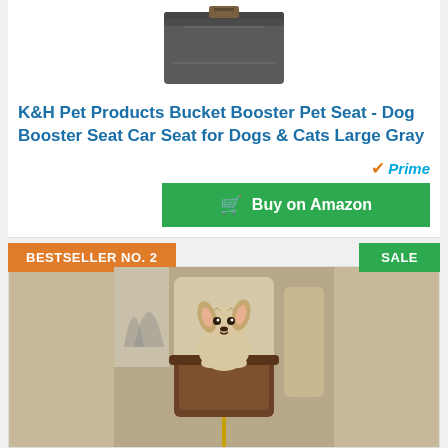[Figure (photo): K&H Pet Products Bucket Booster Pet Seat product photo - gray fabric box/bag shape]
K&H Pet Products Bucket Booster Pet Seat - Dog Booster Seat Car Seat for Dogs & Cats Large Gray
[Figure (logo): Amazon Prime badge with orange checkmark and blue Prime text]
Buy on Amazon
BESTSELLER NO. 2
SALE
[Figure (photo): Small dog (Yorkie) sitting in a brown fabric car booster seat mounted on rear car seat]